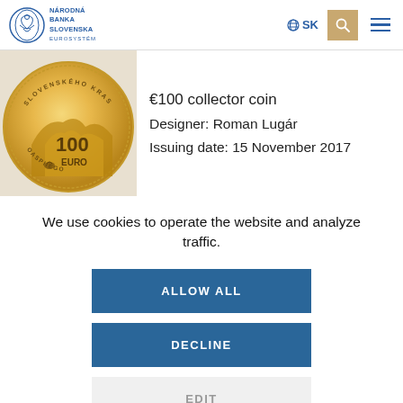[Figure (logo): Národná Banka Slovenska Eurosystém logo with circular emblem and blue text]
€100 collector coin
Designer: Roman Lugár
Issuing date: 15 November 2017
[Figure (photo): Gold €100 collector coin showing Slovak karst landscape with 100 EURO inscription]
We use cookies to operate the website and analyze traffic.
ALLOW ALL
DECLINE
EDIT